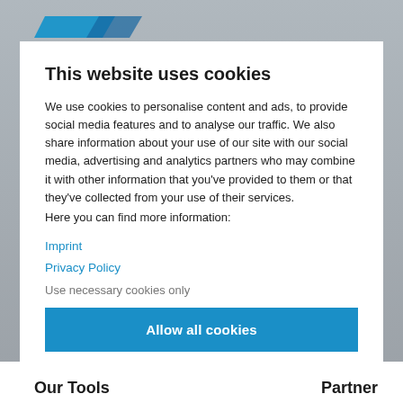[Figure (logo): Blue parallelogram/chevron logo in upper left corner]
This website uses cookies
We use cookies to personalise content and ads, to provide social media features and to analyse our traffic. We also share information about your use of our site with our social media, advertising and analytics partners who may combine it with other information that you've provided to them or that they've collected from your use of their services.
Here you can find more information:
Imprint
Privacy Policy
Use necessary cookies only
Allow all cookies
Show details
Our Tools
Partner